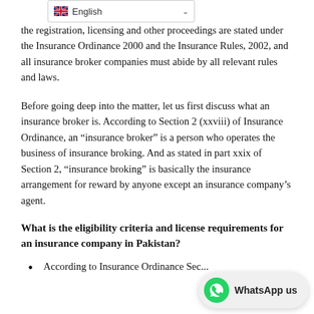the registration, licensing and other proceedings are stated under the Insurance Ordinance 2000 and the Insurance Rules, 2002, and all insurance broker companies must abide by all relevant rules and laws.
Before going deep into the matter, let us first discuss what an insurance broker is. According to Section 2 (xxviii) of Insurance Ordinance, an “insurance broker” is a person who operates the business of insurance broking. And as stated in part xxix of Section 2, “insurance broking” is basically the insurance arrangement for reward by anyone except an insurance company’s agent.
What is the eligibility criteria and license requirements for an insurance company in Pakistan?
According to Insurance Ordinance Sec...